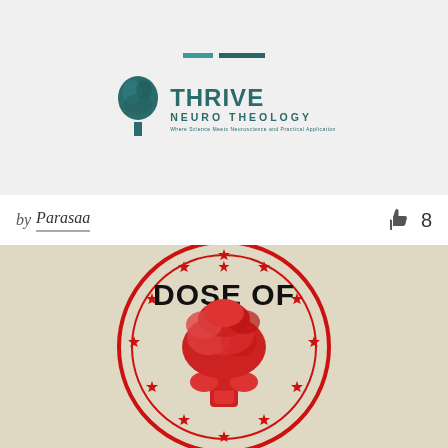[Figure (logo): Thrive Neuro Theology logo with a tree icon and teal/dark teal text]
by Parasaa
8
[Figure (logo): Dose Of badge/emblem with red mushroom cloud, red circle border and stars, bold text DOSE OF on beige/cream background]